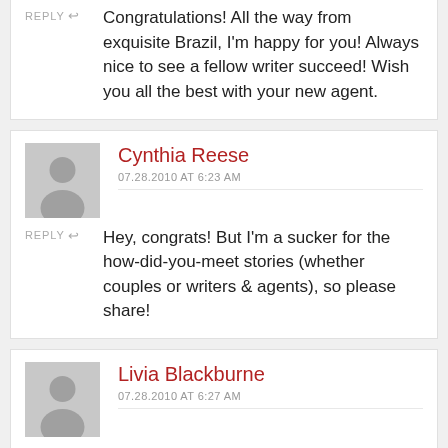Congratulations! All the way from exquisite Brazil, I'm happy for you! Always nice to see a fellow writer succeed! Wish you all the best with your new agent.
REPLY
Cynthia Reese
07.28.2010 AT 6:23 AM
REPLY
Hey, congrats! But I'm a sucker for the how-did-you-meet stories (whether couples or writers & agents), so please share!
Livia Blackburne
07.28.2010 AT 6:27 AM
REPLY
narwha??? Congratulations!